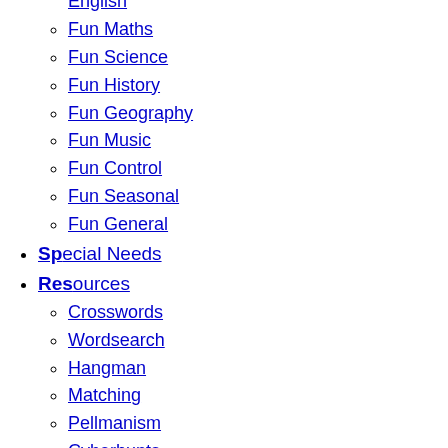Fun Maths
Fun Science
Fun History
Fun Geography
Fun Music
Fun Control
Fun Seasonal
Fun General
Special Needs
Resources
Crosswords
Wordsearch
Hangman
Matching
Pellmanism
Cyberhunts